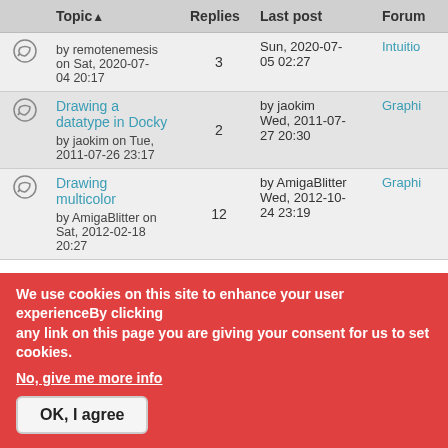|  | Topic ▲ | Replies | Last post | Forum |
| --- | --- | --- | --- | --- |
| [icon] | by remotenemesis on Sat, 2020-07-04 20:17 | 3 | Sun, 2020-07-05 02:27 | Intuitio... |
| [icon] | Drawing a datatype in Docky
by jaokim on Tue, 2011-07-26 23:17 | 2 | by jaokim
Wed, 2011-07-27 20:30 | Graphi... |
| [icon] | Drawing multicolor
by AmigaBlitter on Sat, 2012-02-18 20:27 | 12 | by AmigaBlitter
Wed, 2012-10-24 23:19 | Graphi... |
We use cookies on this site to enhance your user experienceBy clicking any link on this page you are giving your consent for us to set cookies.
No, give me more info
OK, I agree